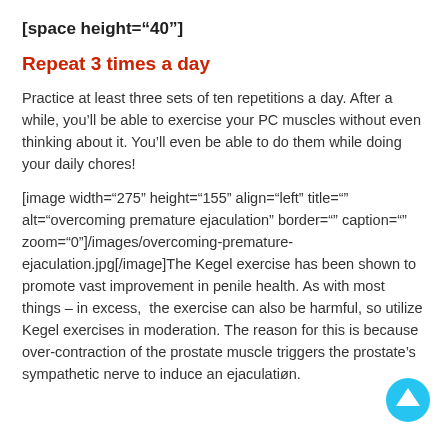[space height="40"]
Repeat 3 times a day
Practice at least three sets of ten repetitions a day. After a while, you'll be able to exercise your PC muscles without even thinking about it. You'll even be able to do them while doing your daily chores!
[image width="275" height="155" align="left" title="" alt="overcoming premature ejaculation" border="" caption="" zoom="0"]/images/overcoming-premature-ejaculation.jpg[/image]The Kegel exercise has been shown to promote vast improvement in penile health. As with most things – in excess, the exercise can also be harmful, so utilize Kegel exercises in moderation. The reason for this is because over-contraction of the prostate muscle triggers the prostate's sympathetic nerve to induce an ejaculation.